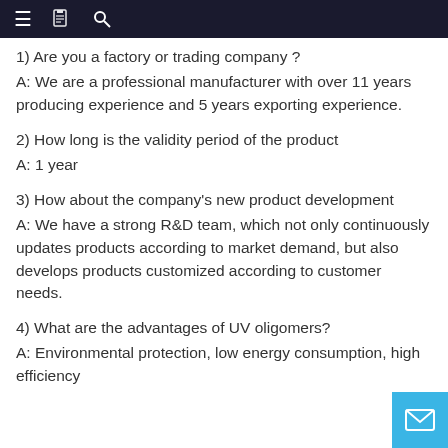≡  📋  🔍
1) Are you a factory or trading company ?
A: We are a professional manufacturer with over 11 years producing experience and 5 years exporting experience.
2) How long is the validity period of the product
A: 1 year
3) How about the company's new product development
A: We have a strong R&D team, which not only continuously updates products according to market demand, but also develops products customized according to customer needs.
4) What are the advantages of UV oligomers?
A: Environmental protection, low energy consumption, high efficiency